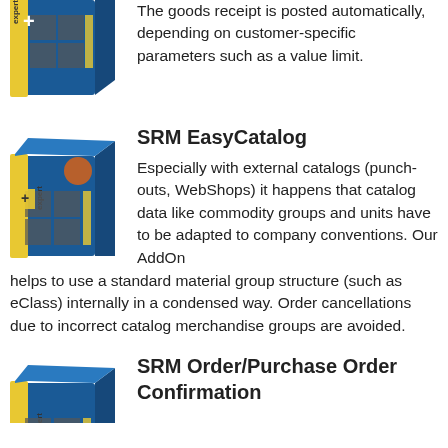The goods receipt is posted automatically, depending on customer-specific parameters such as a value limit.
[Figure (illustration): Expert book/software box icon with blue cover, yellow spine, grid pattern and plus sign]
[Figure (illustration): Expert book/software box icon with blue cover, yellow spine, grid pattern and plus sign]
SRM EasyCatalog
Especially with external catalogs (punch-outs, WebShops) it happens that catalog data like commodity groups and units have to be adapted to company conventions. Our AddOn helps to use a standard material group structure (such as eClass) internally in a condensed way. Order cancellations due to incorrect catalog merchandise groups are avoided.
[Figure (illustration): Expert book/software box icon with blue cover, yellow spine]
SRM Order/Purchase Order Confirmation